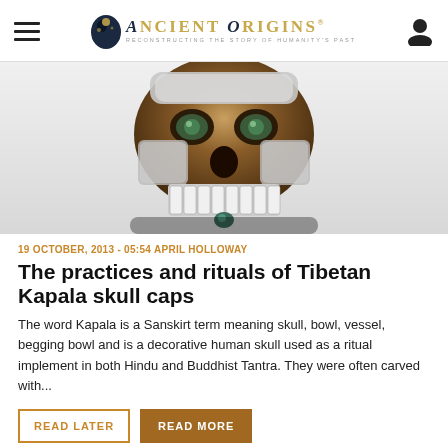Ancient Origins — Reconstructing the story of humanity's past
[Figure (photo): Close-up photo of a decorative Tibetan Kapala skull cap — a human skull adorned with silver metal fittings, gemstone eyes, and ornate metalwork, shown from the front.]
19 OCTOBER, 2013 - 05:54 APRIL HOLLOWAY
The practices and rituals of Tibetan Kapala skull caps
The word Kapala is a Sanskirt term meaning skull, bowl, vessel, begging bowl and is a decorative human skull used as a ritual implement in both Hindu and Buddhist Tantra. They were often carved with...
READ LATER
READ MORE